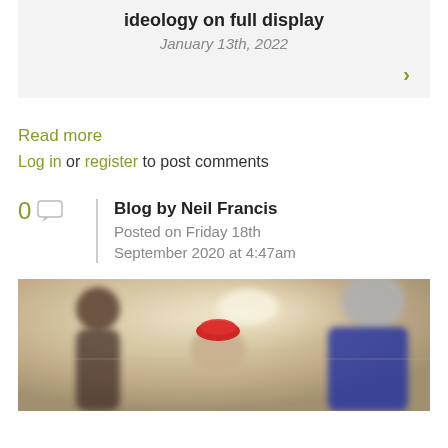ideology on full display
January 13th, 2022
Read more
Log in or register to post comments
Blog by Neil Francis
Posted on Friday 18th September 2020 at 4:47am
[Figure (photo): Blurred photo of people in a hallway; a person wearing a red/pink zucchetto (clerical skullcap) is visible in the foreground, and an older man with grey hair is visible from behind on the right.]